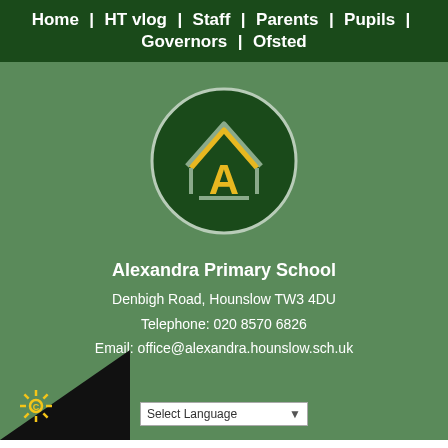Home | HT vlog | Staff | Parents | Pupils | Governors | Ofsted
[Figure (logo): Alexandra Primary School circular logo with house/A symbol in gold and grey on dark green background]
Alexandra Primary School
Denbigh Road, Hounslow TW3 4DU
Telephone: 020 8570 6826
Email: office@alexandra.hounslow.sch.uk